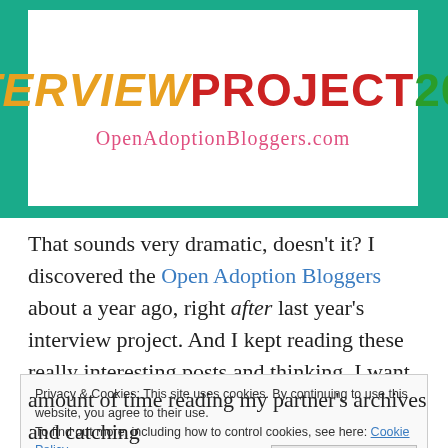[Figure (logo): Interview Project 2013 banner with OpenAdoptionBloggers.com URL on teal/green background with white inner panel]
That sounds very dramatic, doesn't it? I discovered the Open Adoption Bloggers about a year ago, right after last year's interview project. And I kept reading these really interesting posts and thinking, I want to be a part of this – why am I always late for everything?
Privacy & Cookies: This site uses cookies. By continuing to use this website, you agree to their use. To find out more, including how to control cookies, see here: Cookie Policy
amount of time reading my partner's archives and catching